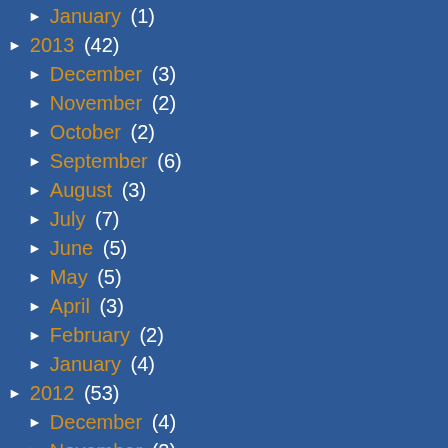January (1)
2013 (42)
December (3)
November (2)
October (2)
September (6)
August (3)
July (7)
June (5)
May (5)
April (3)
February (2)
January (4)
2012 (53)
December (4)
November (2)
September (8)
August (7)